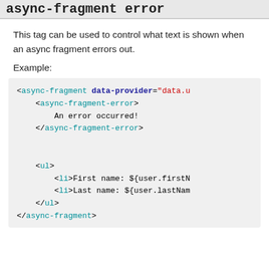async-fragment error
This tag can be used to control what text is shown when an async fragment errors out.
Example:
<async-fragment data-provider="data.u"
    <async-fragment-error>
        An error occurred!
    </async-fragment-error>

    <ul>
        <li>First name: ${user.firstN
        <li>Last name: ${user.lastNam
    </ul>
</async-fragment>